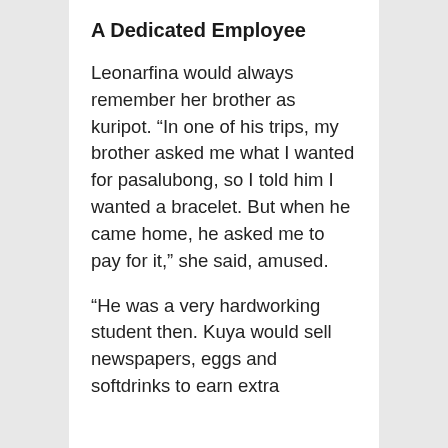A Dedicated Employee
Leonarfina would always remember her brother as kuripot. “In one of his trips, my brother asked me what I wanted for pasalubong, so I told him I wanted a bracelet. But when he came home, he asked me to pay for it,” she said, amused.
“He was a very hardworking student then. Kuya would sell newspapers, eggs and softdrinks to earn extra